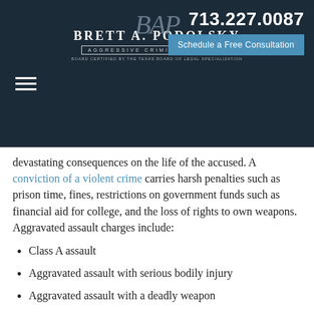[Figure (logo): Brett A. Podolsky law firm logo with monogram, name, tagline 'Aggressive Criminal Defense', and board certification text]
713.227.0087
Schedule a Free Consultation
devastating consequences on the life of the accused. A conviction of a violent crime carries harsh penalties such as prison time, fines, restrictions on government funds such as financial aid for college, and the loss of rights to own weapons. Aggravated assault charges include:
Class A assault
Aggravated assault with serious bodily injury
Aggravated assault with a deadly weapon